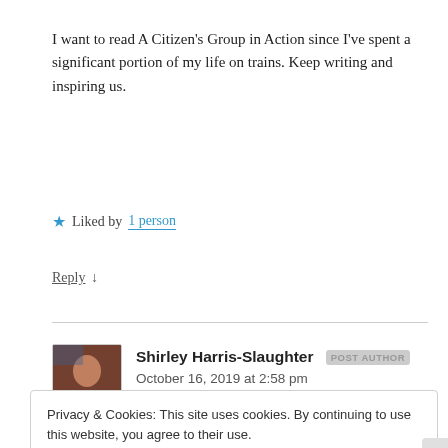I want to read A Citizen's Group in Action since I've spent a significant portion of my life on trains. Keep writing and inspiring us.
★ Liked by 1 person
Reply ↓
Shirley Harris-Slaughter POST AUTHOR October 16, 2019 at 2:58 pm
Privacy & Cookies: This site uses cookies. By continuing to use this website, you agree to their use.
To find out more, including how to control cookies, see here: Cookie Policy
Close and accept